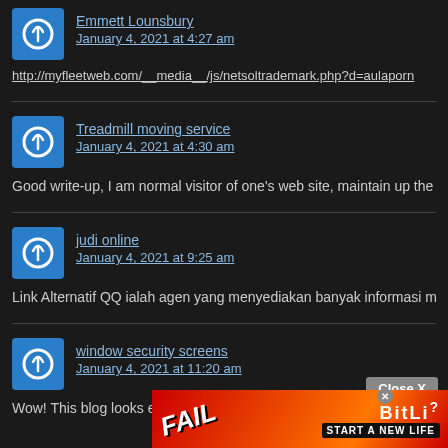Emmett Lounsbury
January 4, 2021 at 4:27 am
http://myfleetweb.com/__media__/js/netsoltrademark.php?d=aulaporn…
Treadmill moving service
January 4, 2021 at 4:30 am
Good write-up, I am normal visitor of one's web site, maintain up the excellent ope…
judi online
January 4, 2021 at 9:25 am
Link Alternatif QQ ialah agen yang menyediakan banyak informasi mengenai link …
window security screens
January 4, 2021 at 11:20 am
Wow! This blog looks exactly like my old one! It's on a completely different topic b…
[Figure (screenshot): BitLife advertisement banner with FAIL text and cartoon character, showing 'START A NEW LIFE']